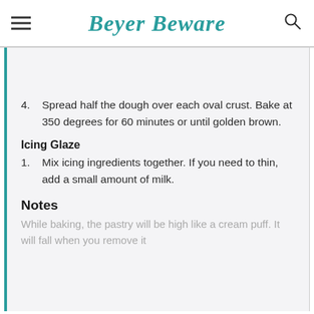Beyer Beware
4. Spread half the dough over each oval crust. Bake at 350 degrees for 60 minutes or until golden brown.
Icing Glaze
1. Mix icing ingredients together. If you need to thin, add a small amount of milk.
Notes
While baking, the pastry will be high like a cream puff. It will fall when you remove it